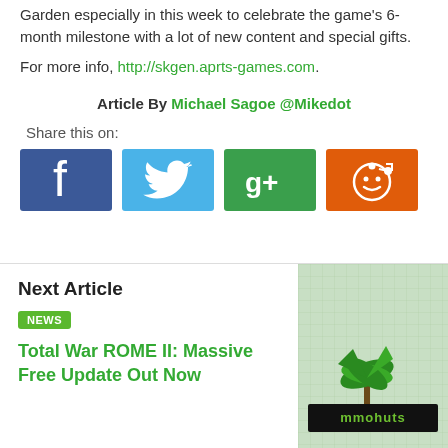Garden especially in this week to celebrate the game's 6-month milestone with a lot of new content and special gifts.
For more info, http://skgen.aprts-games.com.
Article By Michael Sagoe @Mikedot
Share this on:
[Figure (infographic): Social sharing buttons: Facebook (blue), Twitter (light blue), Google+ (green), Reddit (orange)]
Next Article
NEWS
Total War ROME II: Massive Free Update Out Now
[Figure (logo): Mmoahuts logo on green grid background]